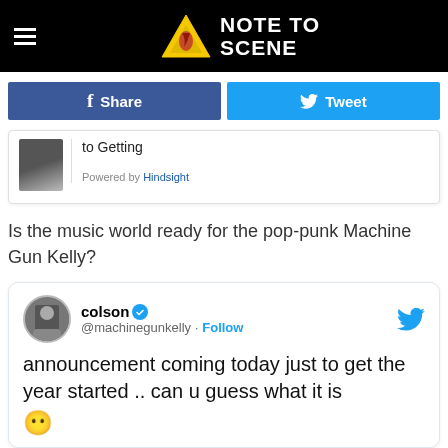NOTE TO SCENE
[Figure (screenshot): Facebook Share button and Twitter Tweet button]
[Figure (screenshot): Hindsight widget showing 'to Getting' text with powered by Hindsight link]
Is the music world ready for the pop-punk Machine Gun Kelly?
[Figure (screenshot): Tweet from colson (@machinegunkelly) with Follow button and Twitter bird logo. Tweet text: 'announcement coming today just to get the year started .. can u guess what it is 😶']